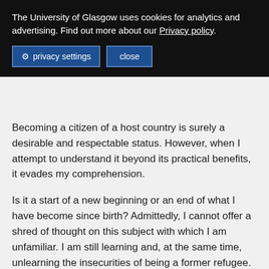The University of Glasgow uses cookies for analytics and advertising. Find out more about our Privacy policy.
privacy settings   close
Becoming a citizen of a host country is surely a desirable and respectable status. However, when I attempt to understand it beyond its practical benefits, it evades my comprehension.
Is it a start of a new beginning or an end of what I have become since birth? Admittedly, I cannot offer a shred of thought on this subject with which I am unfamiliar. I am still learning and, at the same time, unlearning the insecurities of being a former refugee.
Holding onto my identity as an Eritrean